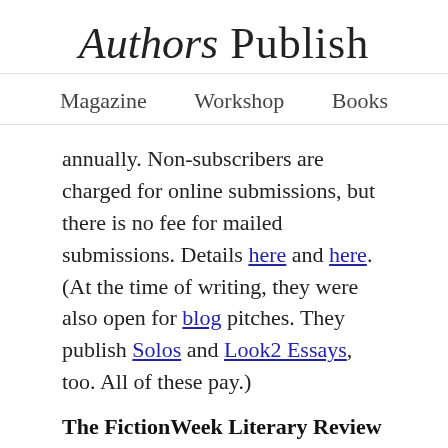Authors Publish
Magazine   Workshop   Books
annually. Non-subscribers are charged for online submissions, but there is no fee for mailed submissions. Details here and here. (At the time of writing, they were also open for blog pitches. They publish Solos and Look2 Essays, too. All of these pay.)
The FictionWeek Literary Review
They publish fiction, including selections from novels, of up to 5,000 words. They